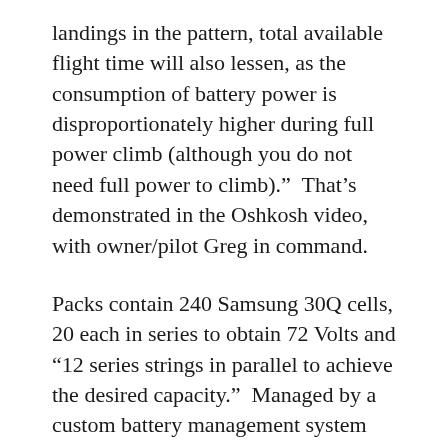landings in the pattern, total available flight time will also lessen, as the consumption of battery power is disproportionately higher during full power climb (although you do not need full power to climb).”  That’s demonstrated in the Oshkosh video, with owner/pilot Greg in command.
Packs contain 240 Samsung 30Q cells, 20 each in series to obtain 72 Volts and “12 series strings in parallel to achieve the desired capacity.”  Managed by a custom battery management system (BMS) with over- and under-voltage and temperature limits, each pack is “potted,” or encapsulated in a weatherproof poly-urea